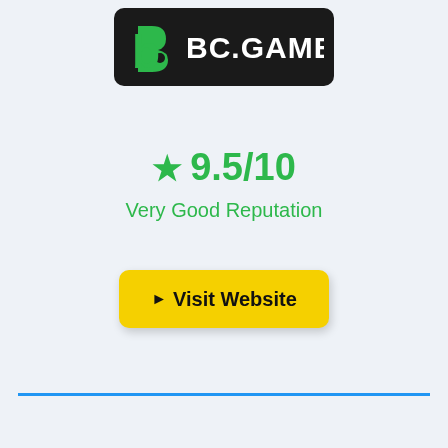[Figure (logo): BC.GAME logo — white text and icon on black rounded rectangle background]
9.5/10
Very Good Reputation
▶ Visit Website